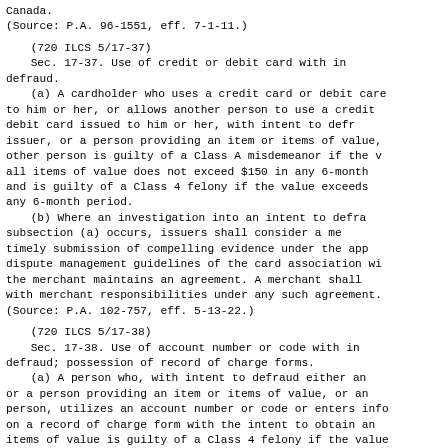Canada.
(Source: P.A. 96-1551, eff. 7-1-11.)
(720 ILCS 5/17-37)
Sec. 17-37. Use of credit or debit card with intent to defraud.
(a) A cardholder who uses a credit card or debit card issued to him or her, or allows another person to use a credit or debit card issued to him or her, with intent to defraud the issuer, or a person providing an item or items of value, or any other person is guilty of a Class A misdemeanor if the value of all items of value does not exceed $150 in any 6-month period, and is guilty of a Class 4 felony if the value exceeds $150 in any 6-month period.
(b) Where an investigation into an intent to defraud under subsection (a) occurs, issuers shall consider a merchant's timely submission of compelling evidence under the applicable dispute management guidelines of the card association with which the merchant maintains an agreement. A merchant shall comply with merchant responsibilities under any such agreement.
(Source: P.A. 102-757, eff. 5-13-22.)
(720 ILCS 5/17-38)
Sec. 17-38. Use of account number or code with intent to defraud; possession of record of charge forms.
(a) A person who, with intent to defraud either an issuer or a person providing an item or items of value, or any other person, utilizes an account number or code or enters information on a record of charge form with the intent to obtain an item or items of value is guilty of a Class 4 felony if the value of the item or items of value obtained does not exceed $150 in